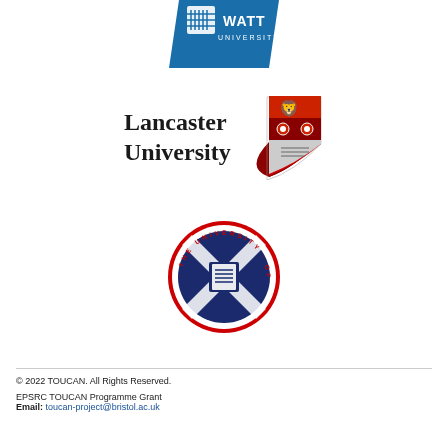[Figure (logo): Heriot-Watt University logo — blue background with university crest and WATT UNIVERSITY text in white]
[Figure (logo): Lancaster University logo — bold serif Lancaster University text with red and white shield crest]
[Figure (logo): The University of Edinburgh circular logo — blue and red circular badge with saltire cross and open book]
© 2022 TOUCAN. All Rights Reserved.
EPSRC TOUCAN Programme Grant
Email: toucan-project@bristol.ac.uk